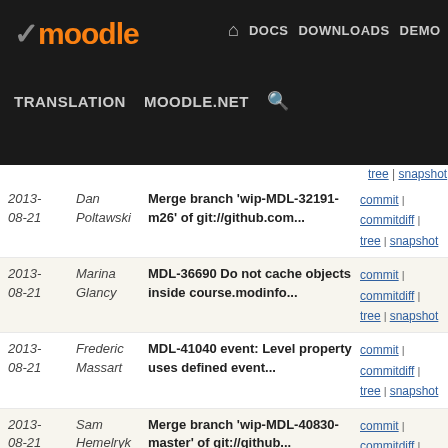Moodle — DOCS DOWNLOADS DEMO TRACKER DEV — TRANSLATION MOODLE.NET
| Date | Author | Commit Message | Links |
| --- | --- | --- | --- |
| 2013-08-21 | Dan Poltawski | Merge branch 'wip-MDL-32191-m26' of git://github.com... | commit | commitdiff | tree | snapshot |
| 2013-08-21 | Marina Glancy | MDL-36690 Do not cache objects inside course.modinfo... | commit | commitdiff | tree | snapshot |
| 2013-08-21 | Frederic Massart | MDL-41040 event: Level property uses defined event... | commit | commitdiff | tree | snapshot |
| 2013-08-21 | Sam Hemelryk | Merge branch 'wip-MDL-40830-master' of git://github... | commit | commitdiff | tree | snapshot |
| 2013-08-21 | Marina Glancy | Merge branch 'MDL-32324' of git://github.com/timhunt... | commit | commitdiff | tree | snapshot |
| 2013-08-21 | Sam Hemelryk | Merge branch 'MDL-41162' of git://github.com/timhunt... | commit | commitdiff | tree | snapshot |
| 2013-08-21 | Sam Hemelryk | Merge branch 'MDL-39876-master' of git://github.com... | commit | commitdiff | tree | snapshot |
| 2013-08-21 | Marina Glancy | Merge branch 'wip-mdl-40042' of git://github.com/rajesh... | commit | commitdiff | tree | snapshot |
| 2013-08-20 | Sam Hemelryk | MDL-40931 useragent: converted useragent calls in ajaxe... | commit | commitdiff | tree | snapshot |
| 2013-08-20 | Sam Hemelryk | Revert "MDL-41258 Forum: Add additional unit tests... | commit | commitdiff |